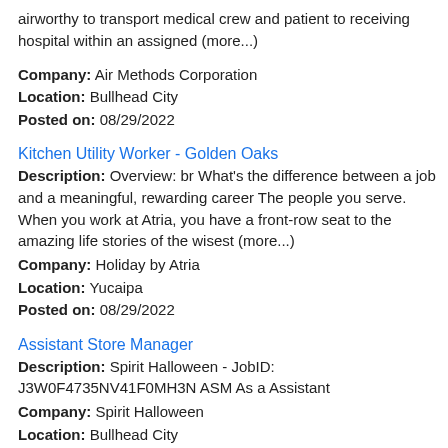airworthy to transport medical crew and patient to receiving hospital within an assigned (more...)
Company: Air Methods Corporation
Location: Bullhead City
Posted on: 08/29/2022
Kitchen Utility Worker - Golden Oaks
Description: Overview: br What's the difference between a job and a meaningful, rewarding career The people you serve. When you work at Atria, you have a front-row seat to the amazing life stories of the wisest (more...)
Company: Holiday by Atria
Location: Yucaipa
Posted on: 08/29/2022
Assistant Store Manager
Description: Spirit Halloween - JobID: J3W0F4735NV41F0MH3N ASM As a Assistant
Company: Spirit Halloween
Location: Bullhead City
Posted on: 08/29/2022
Salary in Hesperia, California Area | More details for